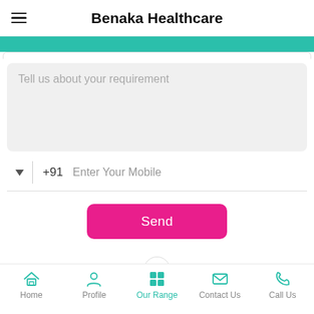Benaka Healthcare
[Figure (screenshot): Teal colored banner/divider bar]
Tell us about your requirement
+91  Enter Your Mobile
Send
[Figure (screenshot): Bottom navigation bar with Home, Profile, Our Range (active), Contact Us, Call Us icons]